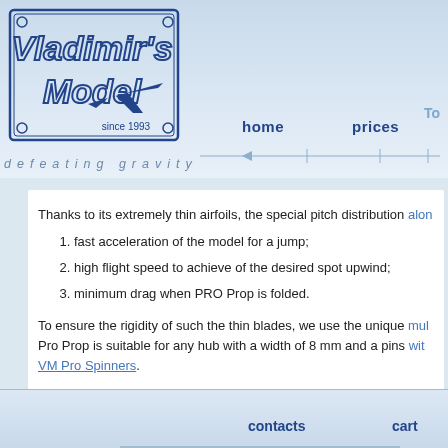[Figure (logo): Vladimir's Model logo with airplane silhouette, 'since 1993' text, decorative border]
home   prices   To...
defeating gravity
Thanks to its extremely thin airfoils, the special pitch distribution alon...
fast acceleration of the model for a jump;
high flight speed to achieve of the desired spot upwind;
minimum drag when PRO Prop is folded.
To ensure the rigidity of such the thin blades, we use the unique mul... Pro Prop is suitable for any hub with a width of 8 mm and a pins with... VM Pro Spinners.
PRO Prop 12/8" pair of the blades weight: 7,5 g
contacts   cart